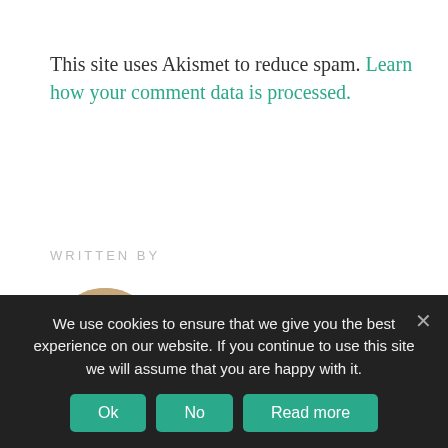This site uses Akismet to reduce spam. Learn how your comment data is processed.
WRITTEN BY
[Figure (photo): Circular headshot of Michel Bauwens, a bald man with glasses]
Michel Bauwens
Michel Bauwens is the founder and president of the P2P Foundation and works in collaboration with a global group of researchers in the exploration of peer production, governance, and property. Bauwens travels
We use cookies to ensure that we give you the best experience on our website. If you continue to use this site we will assume that you are happy with it.